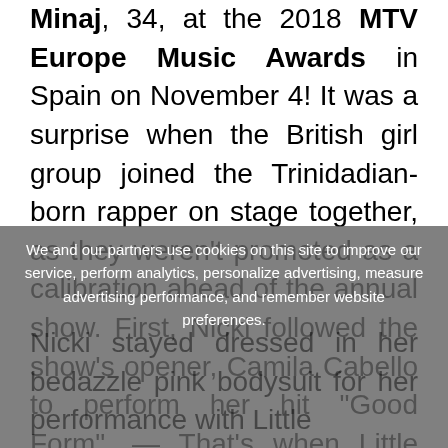Minaj, 34, at the 2018 MTV Europe Music Awards in Spain on November 4! It was a surprise when the British girl group joined the Trinidadian-born rapper on stage together, as they weren't promoted as a calibration ahead of the annual show. First, Nicki followed the show's opener, Camila Cabello to perform her hit "Good Form". — That's when Little Mix, dressed in different menswear styles, showed up to perform "Woman Like Me".
Nicki stayed dressed in her bedazzle pink bodysuit for her performance with Little
We and our partners use cookies on this site to improve our service, perform analytics, personalize advertising, measure advertising performance, and remember website preferences.